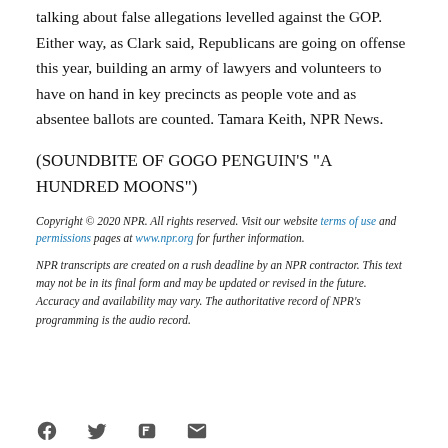talking about false allegations levelled against the GOP. Either way, as Clark said, Republicans are going on offense this year, building an army of lawyers and volunteers to have on hand in key precincts as people vote and as absentee ballots are counted. Tamara Keith, NPR News.
(SOUNDBITE OF GOGO PENGUIN'S "A HUNDRED MOONS")
Copyright © 2020 NPR. All rights reserved. Visit our website terms of use and permissions pages at www.npr.org for further information.
NPR transcripts are created on a rush deadline by an NPR contractor. This text may not be in its final form and may be updated or revised in the future. Accuracy and availability may vary. The authoritative record of NPR's programming is the audio record.